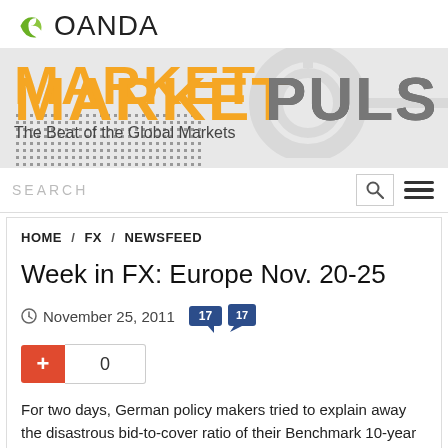[Figure (logo): OANDA logo with green leaf icon and OANDA wordmark]
[Figure (illustration): MarketPulse banner with orange MARKET text and dotted grey PULSE text on grey background, subtitle: The Beat of the Global Markets]
SEARCH
HOME / FX / NEWSFEED
Week in FX: Europe Nov. 20-25
November 25, 2011  17
0
For two days, German policy makers tried to explain away the disastrous bid-to-cover ratio of their Benchmark 10-year offering